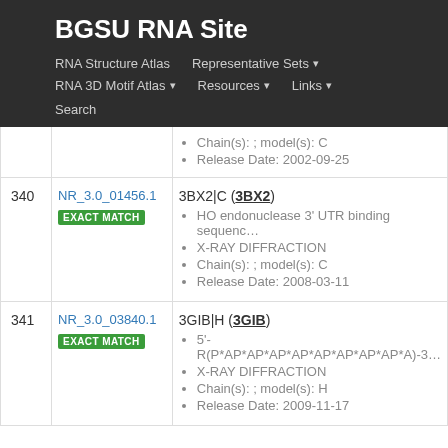BGSU RNA Site
RNA Structure Atlas | Representative Sets ▾ | RNA 3D Motif Atlas ▾ | Resources ▾ | Links ▾ | Search
| # | ID | Details |
| --- | --- | --- |
|  |  | Chain(s): ; model(s): C
Release Date: 2002-09-25 |
| 340 | NR_3.0_01456.1
EXACT MATCH | 3BX2|C (3BX2)
HO endonuclease 3' UTR binding sequence
X-RAY DIFFRACTION
Chain(s): ; model(s): C
Release Date: 2008-03-11 |
| 341 | NR_3.0_03840.1
EXACT MATCH | 3GIB|H (3GIB)
5'-R(P*AP*AP*AP*AP*AP*AP*AP*AP*A)-3
X-RAY DIFFRACTION
Chain(s): ; model(s): H
Release Date: 2009-11-17 |